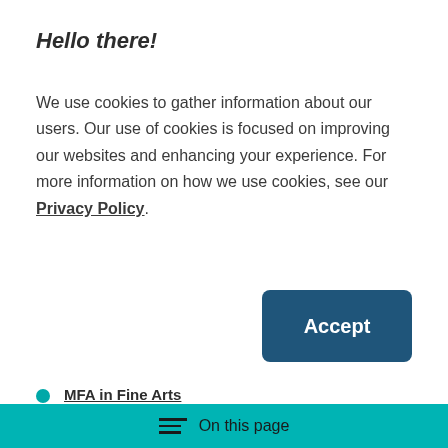Hello there!
We use cookies to gather information about our users. Our use of cookies is focused on improving our websites and enhancing your experience. For more information on how we use cookies, see our Privacy Policy.
[Figure (other): Accept button — dark teal/navy rectangular button with rounded corners and white bold text reading 'Accept']
MFA in Fine Arts
MA in Visual & Critical Studies and MFA in Fine Arts
On this page